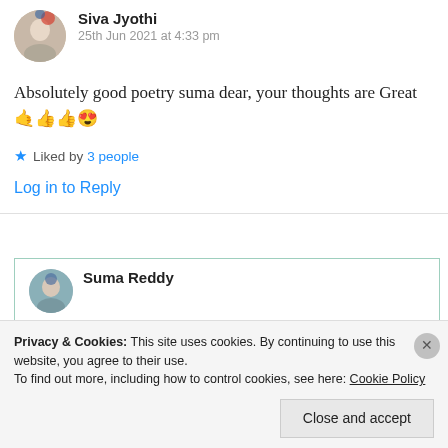Siva Jyothi
25th Jun 2021 at 4:33 pm
Absolutely good poetry suma dear, your thoughts are Great 🤙👍👍😍
★ Liked by 3 people
Log in to Reply
Suma Reddy
Privacy & Cookies: This site uses cookies. By continuing to use this website, you agree to their use.
To find out more, including how to control cookies, see here: Cookie Policy
Close and accept